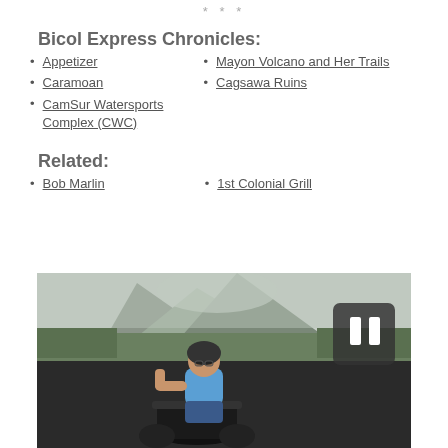* * *
Bicol Express Chronicles:
Appetizer
Caramoan
CamSur Watersports Complex (CWC)
Mayon Volcano and Her Trails
Cagsawa Ruins
Related:
Bob Marlin
1st Colonial Grill
[Figure (photo): A person sitting on an ATV/quad bike giving a thumbs-up, with Mayon Volcano in the background. A dark semi-transparent pause button overlay is visible in the upper right area of the image.]